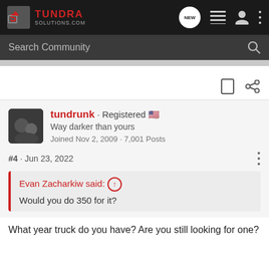TUNDRA SOLUTIONS.COM
Search Community
tundrunk · Registered
Way darker than yours
Joined Nov 2, 2009 · 7,001 Posts
#4 · Jun 23, 2022
Evan Zacharkiw said:
Would you do 350 for it?
What year truck do you have? Are you still looking for one?